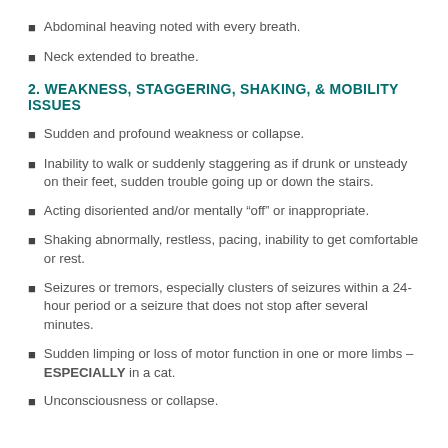Abdominal heaving noted with every breath.
Neck extended to breathe.
2. WEAKNESS, STAGGERING, SHAKING, & MOBILITY ISSUES
Sudden and profound weakness or collapse.
Inability to walk or suddenly staggering as if drunk or unsteady on their feet, sudden trouble going up or down the stairs.
Acting disoriented and/or mentally “off” or inappropriate.
Shaking abnormally, restless, pacing, inability to get comfortable or rest.
Seizures or tremors, especially clusters of seizures within a 24-hour period or a seizure that does not stop after several minutes.
Sudden limping or loss of motor function in one or more limbs – ESPECIALLY in a cat.
Unconsciousness or collapse.